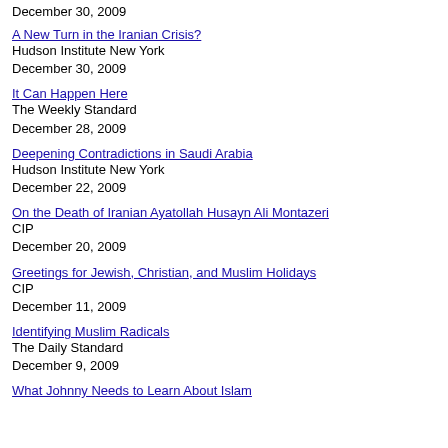December 30, 2009
A New Turn in the Iranian Crisis?
Hudson Institute New York
December 30, 2009
It Can Happen Here
The Weekly Standard
December 28, 2009
Deepening Contradictions in Saudi Arabia
Hudson Institute New York
December 22, 2009
On the Death of Iranian Ayatollah Husayn Ali Montazeri
CIP
December 20, 2009
Greetings for Jewish, Christian, and Muslim Holidays
CIP
December 11, 2009
Identifying Muslim Radicals
The Daily Standard
December 9, 2009
What Johnny Needs to Learn About Islam